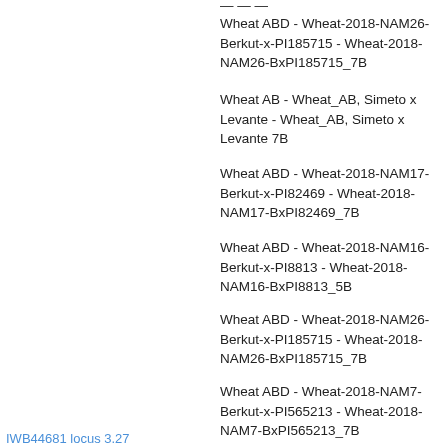Wheat ABD - Wheat-2018-NAM26-Berkut-x-PI185715 - Wheat-2018-NAM26-BxPI185715_7B
Wheat AB - Wheat_AB, Simeto x Levante - Wheat_AB, Simeto x Levante 7B
Wheat ABD - Wheat-2018-NAM17-Berkut-x-PI82469 - Wheat-2018-NAM17-BxPI82469_7B
Wheat ABD - Wheat-2018-NAM16-Berkut-x-PI8813 - Wheat-2018-NAM16-BxPI8813_5B
Wheat ABD - Wheat-2018-NAM26-Berkut-x-PI185715 - Wheat-2018-NAM26-BxPI185715_7B
Wheat ABD - Wheat-2018-NAM7-Berkut-x-PI565213 - Wheat-2018-NAM7-BxPI565213_7B
Wheat AB - Wheat_AB_2015_Consensus - Wheat_AB_2015_Consensus-7B
Wheat ABD - Wheat-2018-NAM28-Berkut-x-PI210945 - Wheat-2018-NAM28-BxPI210945_7B
IWB44681   locus   3.27